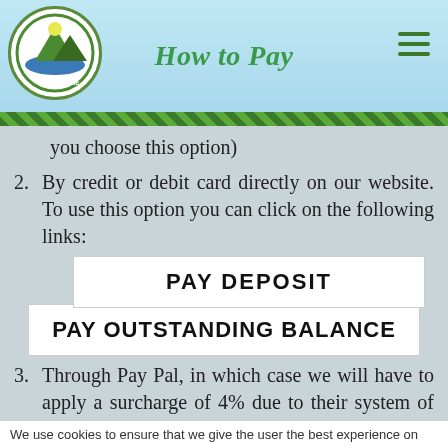How to Pay
you choose this option)
2. By credit or debit card directly on our website. To use this option you can click on the following links:
[Figure (screenshot): PAY DEPOSIT button - white rectangle with bold text]
[Figure (screenshot): PAY OUTSTANDING BALANCE button - white rectangle with bold text]
3. Through Pay Pal, in which case we will have to apply a surcharge of 4% due to their system of commissions.
If you have any questions or problems regarding your payments, please email us at
We use cookies to ensure that we give the user the best experience on